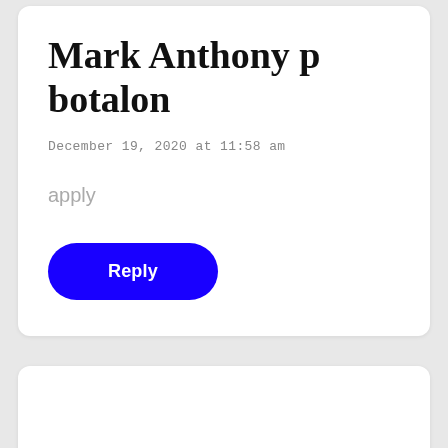Mark Anthony p botalon
December 19, 2020 at 11:58 am
apply
[Figure (other): Blue rounded rectangle Reply button]